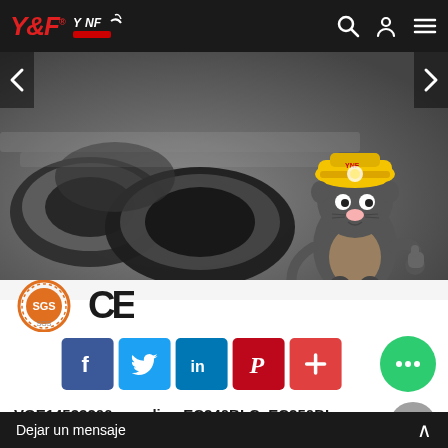Y&F YNF logo navigation bar
[Figure (photo): Product photo showing black rubber hydraulic hose rings/seals coiled up, with a cartoon mole mascot wearing a yellow hard hat and holding a shovel, and SGS/CE certification logos.]
[Figure (logo): SGS and CE certification badges]
[Figure (infographic): Social media share buttons: Facebook, Twitter, LinkedIn, Pinterest, and a plus/more button]
VOE14533206 coupling EC240BLC, EC250DL Volvo Excavator H...
Dejar un mensaje